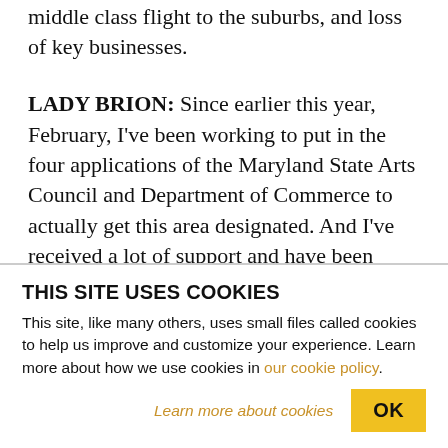middle class flight to the suburbs, and loss of key businesses.
LADY BRION: Since earlier this year, February, I've been working to put in the four applications of the Maryland State Arts Council and Department of Commerce to actually get this area designated. And I've received a lot of support and have been working with partners all along the Pennsylvania Avenue corridor, including Pennsylvania Avenue, Main Street, Upton CDC, Druid Heights CDC, Arch Social
THIS SITE USES COOKIES
This site, like many others, uses small files called cookies to help us improve and customize your experience. Learn more about how we use cookies in our cookie policy.
Learn more about cookies
OK